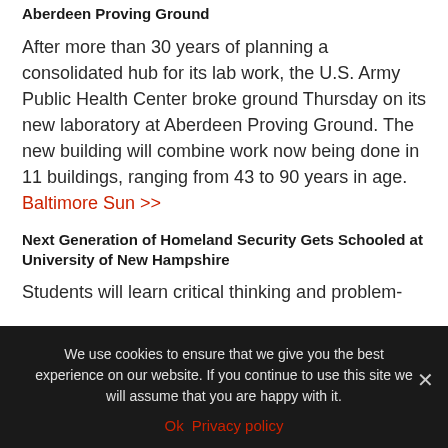Aberdeen Proving Ground
After more than 30 years of planning a consolidated hub for its lab work, the U.S. Army Public Health Center broke ground Thursday on its new laboratory at Aberdeen Proving Ground. The new building will combine work now being done in 11 buildings, ranging from 43 to 90 years in age. Baltimore Sun >>
Next Generation of Homeland Security Gets Schooled at University of New Hampshire
Students will learn critical thinking and problem-